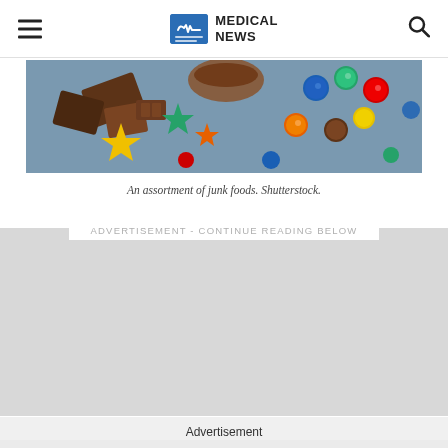MEDICAL NEWS
[Figure (photo): An assortment of junk foods including chocolate, colorful candy pieces, and star-shaped gummies on a gray background.]
An assortment of junk foods. Shutterstock.
ADVERTISEMENT - CONTINUE READING BELOW
Advertisement